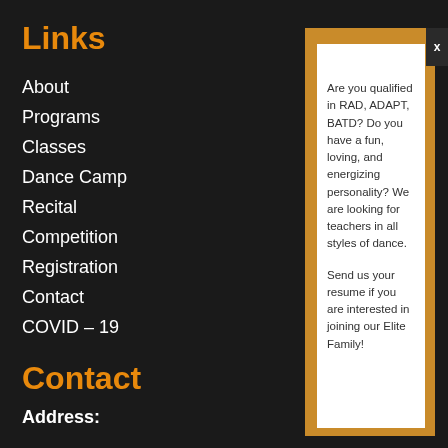Links
About
Programs
Classes
Dance Camp
Recital
Competition
Registration
Contact
COVID – 19
Contact
Address:
Are you qualified in RAD, ADAPT, BATD? Do you have a fun, loving, and energizing personality? We are looking for teachers in all styles of dance.

Send us your resume if you are interested in joining our Elite Family!